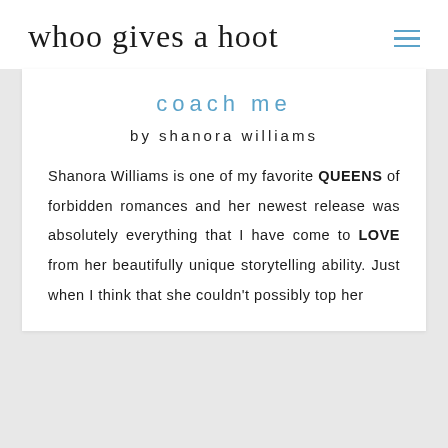whoo gives a hoot
coach me
by shanora williams
Shanora Williams is one of my favorite QUEENS of forbidden romances and her newest release was absolutely everything that I have come to LOVE from her beautifully unique storytelling ability. Just when I think that she couldn't possibly top her